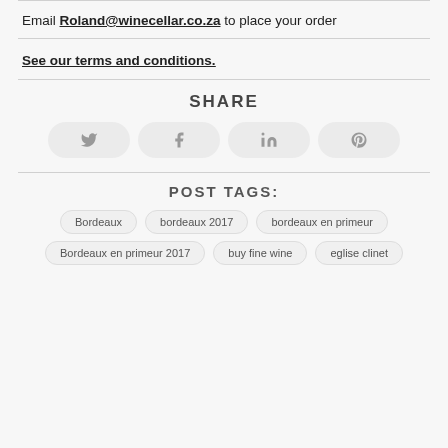Email Roland@winecellar.co.za to place your order
See our terms and conditions.
SHARE
[Figure (other): Four social share buttons: Twitter, Facebook, LinkedIn, Pinterest]
POST TAGS:
Bordeaux
bordeaux 2017
bordeaux en primeur
Bordeaux en primeur 2017
buy fine wine
eglise clinet